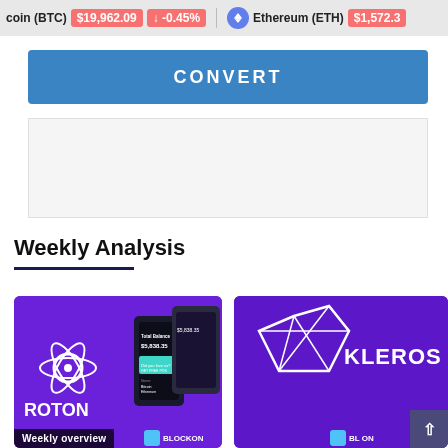coin (BTC) $19,962.09 ↓ -0.45% Ethereum (ETH) $1,572.3
[Figure (screenshot): Blue CONVERT button]
[Figure (screenshot): Advertisement placeholder area]
Weekly Analysis
[Figure (screenshot): Weekly overview card showing PROTON crypto wallet app with $5,838.35 balance, BLOCKON branding]
[Figure (screenshot): KLEROS crypto card with BLOCKON branding and English language selector]